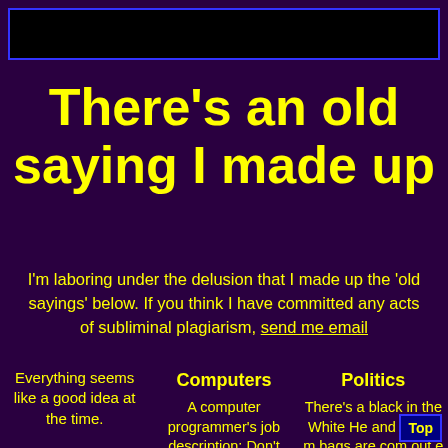There's an old saying I made up
I'm laboring under the delusion that I made up the 'old sayings' below. If you think I have committed any acts of subliminal plagiarism, send me email
Computers
Everything seems like a good idea at the time.

Evolution only works because everything
A computer programmer's job description: Don't take shit from inanimate
Politics
There's a black in the White H and all the m bags are com out e wo k.